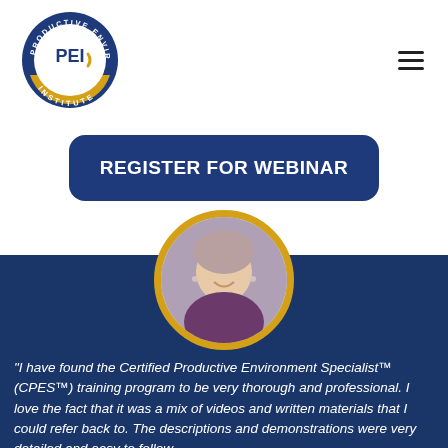[Figure (logo): Productive Environment Institute (PEI) circular logo with gold and navy ring, white center with 'PEI' text and arrow icon]
[Figure (other): Hamburger menu icon (three horizontal lines) in top right corner]
REGISTER FOR WEBINAR
[Figure (photo): Circular portrait photo of a smiling woman with short hair wearing a purple top, framed with a gold/yellow circle border, on a dark blue background]
"I have found the Certified Productive Environment Specialist™ (CPES™) training program to be very thorough and professional. I love the fact that it was a mix of videos and written materials that I could refer back to. The descriptions and demonstrations were very detailed and easy to follow.